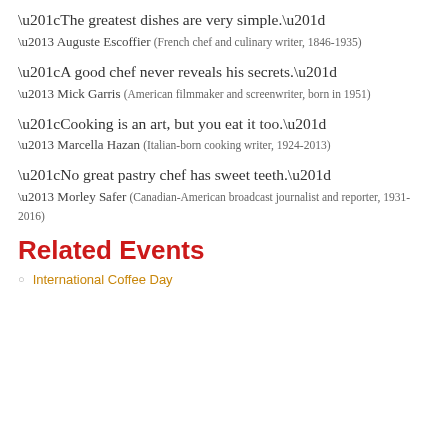“The greatest dishes are very simple.”
– Auguste Escoffier (French chef and culinary writer, 1846-1935)
“A good chef never reveals his secrets.”
– Mick Garris (American filmmaker and screenwriter, born in 1951)
“Cooking is an art, but you eat it too.”
– Marcella Hazan (Italian-born cooking writer, 1924-2013)
“No great pastry chef has sweet teeth.”
– Morley Safer (Canadian-American broadcast journalist and reporter, 1931-2016)
Related Events
International Coffee Day